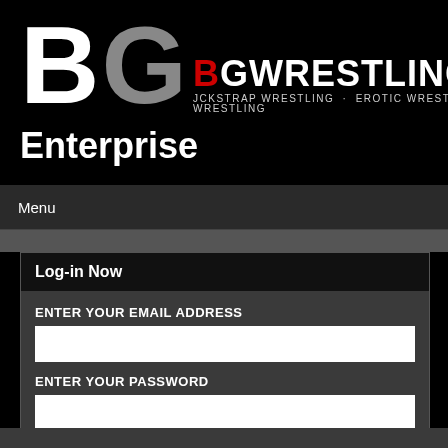[Figure (logo): BG Enterprise logo with large white B and grey G letters, accompanied by BGWRESTLING.TV site name in white with red B, and tagline JOCKSTRAP WRESTLING · EROTIC WRESTLING · SEX WRESTLING]
Enterprise
Menu
Log-in Now
ENTER YOUR EMAIL ADDRESS
ENTER YOUR PASSWORD
SIGN IN
Sign-Up | LOST PASSWORD